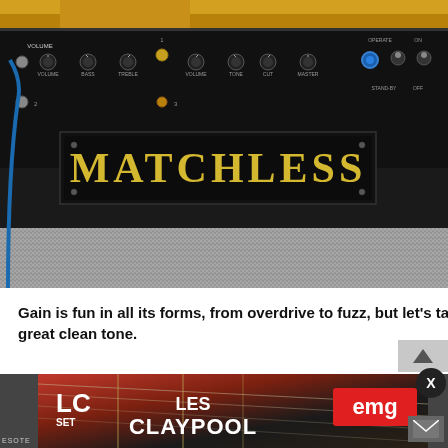[Figure (photo): Photo of a Matchless guitar amplifier showing the control panel with knobs labeled VOLUME, BASS, TREBLE, VOLUME, TONE, CUT, MASTER, OPERATE, ON, STANDBY, OFF, and a nameplate reading MATCHLESS in gold letters on black background, with a grey speaker grille cloth at the bottom]
Gain is fun in all its forms, from overdrive to fuzz, but let's talk about a great clean tone.
[Figure (photo): Advertisement banner showing EMG Les Claypool LC SET guitar pickups, with an electric guitar on a dark red/dark background. Text shows LC SET on the left, LES CLAYPOOL in the center, EMG logo in red on the right]